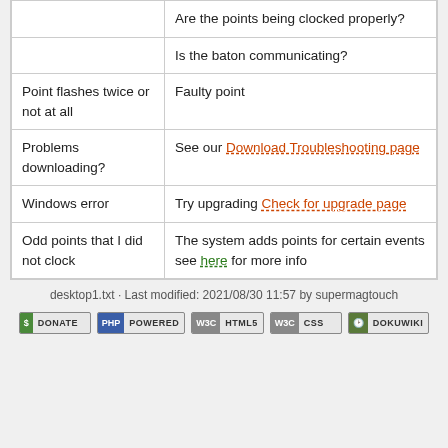|  |  |
| --- | --- |
|  | Are the points being clocked properly? |
|  | Is the baton communicating? |
| Point flashes twice or not at all | Faulty point |
| Problems downloading? | See our Download Troubleshooting page |
| Windows error | Try upgrading Check for upgrade page |
| Odd points that I did not clock | The system adds points for certain events see here for more info |
desktop1.txt · Last modified: 2021/08/30 11:57 by supermagtouch